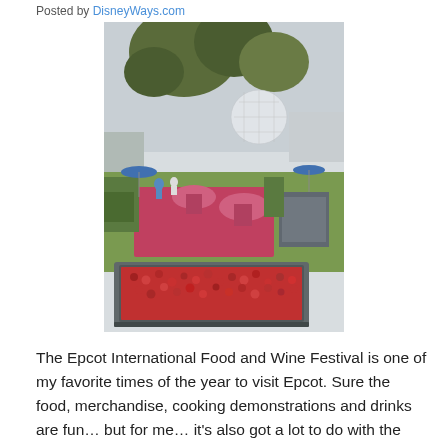Posted by DisneyWays.com
[Figure (photo): Outdoor scene at Epcot showing garden landscaping with pink-covered tables, greenery, a large geodesic sphere (Spaceship Earth) visible in the background, blue sky, and a raised planter box filled with red berries/cranberries in the foreground.]
The Epcot International Food and Wine Festival is one of my favorite times of the year to visit Epcot. Sure the food, merchandise, cooking demonstrations and drinks are fun… but for me… it's also got a lot to do with the Ocean